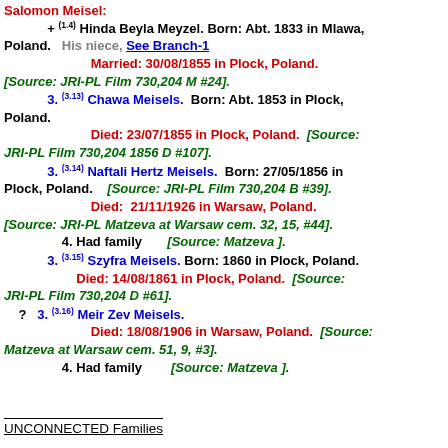Salomon Meisel: + (1.4) Hinda Beyla Meyzel. Born: Abt. 1833 in Mlawa, Poland. His niece, See Branch-1. Married: 30/08/1855 in Plock, Poland. [Source: JRI-PL Film 730,204 M #24].
3. (3.13) Chawa Meisels. Born: Abt. 1853 in Plock, Poland. Died: 23/07/1855 in Plock, Poland. [Source: JRI-PL Film 730,204 1856 D #107].
3. (3.14) Naftali Hertz Meisels. Born: 27/05/1856 in Plock, Poland. [Source: JRI-PL Film 730,204 B #39]. Died: 21/11/1926 in Warsaw, Poland. [Source: JRI-PL Matzeva at Warsaw cem. 32, 15, #44]. 4. Had family [Source: Matzeva ].
3. (3.15) Szyfra Meisels. Born: 1860 in Plock, Poland. Died: 14/08/1861 in Plock, Poland. [Source: JRI-PL Film 730,204 D #61].
? 3. (3.16) Meir Zev Meisels. Died: 18/08/1906 in Warsaw, Poland. [Source: Matzeva at Warsaw cem. 51, 9, #3]. 4. Had family [Source: Matzeva ].
UNCONNECTED Families